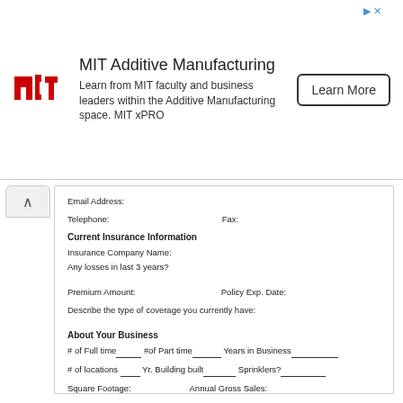[Figure (other): MIT Additive Manufacturing advertisement banner with MIT logo, description text, and Learn More button]
Email Address:
Telephone:    Fax:
Current Insurance Information
Insurance Company Name:
Any losses in last 3 years?
Premium Amount:    Policy Exp. Date:
Describe the type of coverage you currently have:
About Your Business
# of Full time_____ #of Part time______ Years in Business__________
# of locations _____ Yr. Building built_______ Sprinklers? __________
Square Footage:_____________ Annual Gross Sales: ______________
Building Type:_________________ Type of Business:_____________
# Owned autos:___________ Estimated payroll/ month:____________